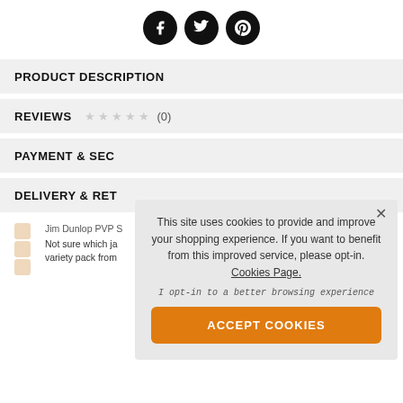[Figure (illustration): Three black circular social media icons: Facebook (f), Twitter (bird), Pinterest (p)]
PRODUCT DESCRIPTION
REVIEWS ★ ★ ★ ★ ★ (0)
PAYMENT & SEC
DELIVERY & RET
Jim Dunlop PVP S
Not sure which ja variety pack from
This site uses cookies to provide and improve your shopping experience. If you want to benefit from this improved service, please opt-in. Cookies Page.
I opt-in to a better browsing experience
ACCEPT COOKIES